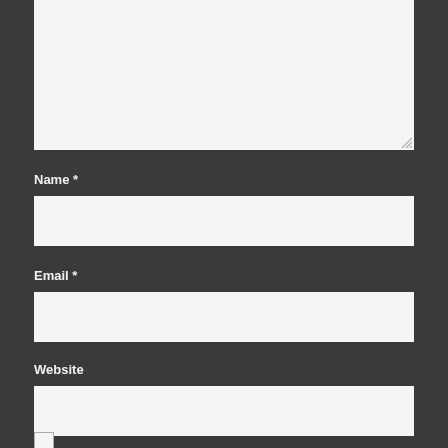[Figure (screenshot): Top portion of a textarea/comment form field with light gray background and a resize handle in the bottom-right corner]
Name *
[Figure (screenshot): Empty text input field with light gray background for Name]
Email *
[Figure (screenshot): Empty text input field with light gray background for Email]
Website
[Figure (screenshot): Empty text input field with light gray background for Website]
[Figure (screenshot): Checkbox control, unchecked, white background]